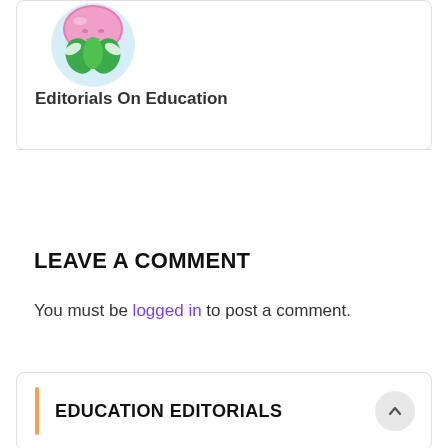[Figure (illustration): Cartoon illustration of a character with a pink mushroom-like head and green leaves/body, circular avatar style with light blue background]
Editorials On Education
LEAVE A COMMENT
You must be logged in to post a comment.
EDUCATION EDITORIALS